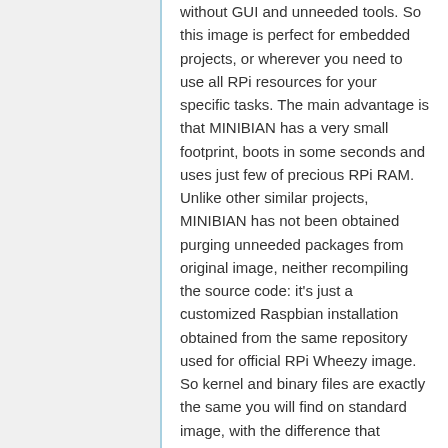without GUI and unneeded tools. So this image is perfect for embedded projects, or wherever you need to use all RPi resources for your specific tasks. The main advantage is that MINIBIAN has a very small footprint, boots in some seconds and uses just few of precious RPi RAM. Unlike other similar projects, MINIBIAN has not been obtained purging unneeded packages from original image, neither recompiling the source code: it's just a customized Raspbian installation obtained from the same repository used for official RPi Wheezy image. So kernel and binary files are exactly the same you will find on standard image, with the difference that MINIBIAN fit on 512Mb SD Card, is fastest, and more frequently updated.
Related links: